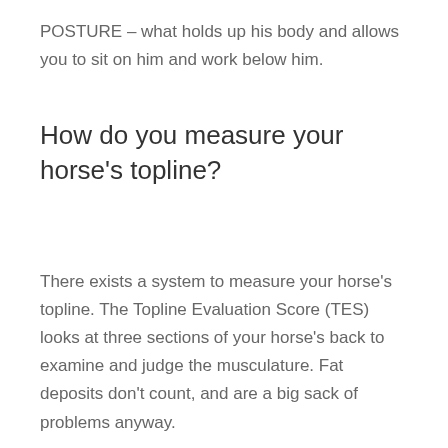POSTURE – what holds up his body and allows you to sit on him and work below him.
How do you measure your horse's topline?
There exists a system to measure your horse's topline. The Topline Evaluation Score (TES) looks at three sections of your horse's back to examine and judge the musculature. Fat deposits don't count, and are a big sack of problems anyway.